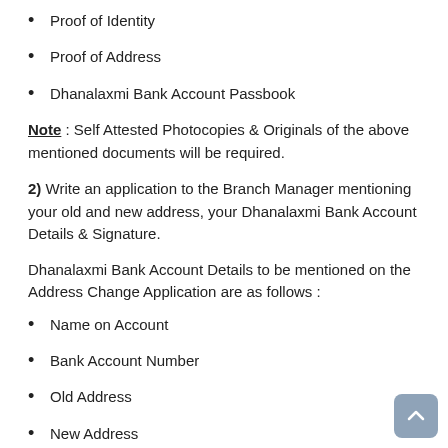Proof of Identity
Proof of Address
Dhanalaxmi Bank Account Passbook
Note : Self Attested Photocopies & Originals of the above mentioned documents will be required.
2) Write an application to the Branch Manager mentioning your old and new address, your Dhanalaxmi Bank Account Details & Signature.
Dhanalaxmi Bank Account Details to be mentioned on the Address Change Application are as follows :
Name on Account
Bank Account Number
Old Address
New Address
3) Visit your Dhanalaxmi Bank Home Branch and ask for KYC Details